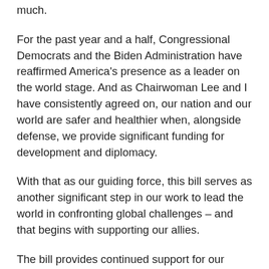much.
For the past year and a half, Congressional Democrats and the Biden Administration have reaffirmed America's presence as a leader on the world stage. And as Chairwoman Lee and I have consistently agreed on, our nation and our world are safer and healthier when, alongside defense, we provide significant funding for development and diplomacy.
With that as our guiding force, this bill serves as another significant step in our work to lead the world in confronting global challenges – and that begins with supporting our allies.
The bill provides continued support for our closest partners, such as Israel and Jordan, and for